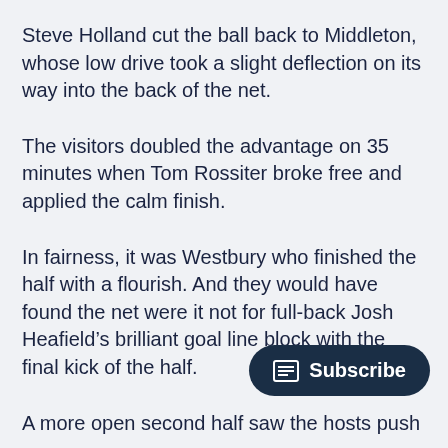Steve Holland cut the ball back to Middleton, whose low drive took a slight deflection on its way into the back of the net.
The visitors doubled the advantage on 35 minutes when Tom Rossiter broke free and applied the calm finish.
In fairness, it was Westbury who finished the half with a flourish. And they would have found the net were it not for full-back Josh Heafield’s brilliant goal line block with the final kick of the half.
A more open second half saw the hosts push